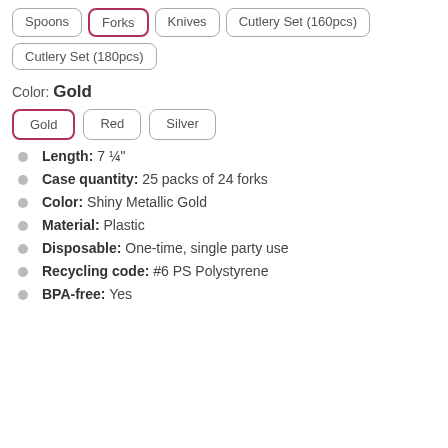Spoons | Forks | Knives | Cutlery Set (160pcs) | Cutlery Set (180pcs) [button group]
Color: Gold
Gold | Red | Silver [color button group]
Length: 7 ¼"
Case quantity: 25 packs of 24 forks
Color: Shiny Metallic Gold
Material: Plastic
Disposable: One-time, single party use
Recycling code: #6 PS Polystyrene
BPA-free: Yes